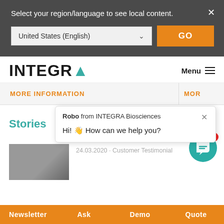Select your region/language to see local content.
United States (English)
GO
[Figure (logo): INTEGRA logo with teal A lettermark]
Menu ≡
MORE INFORMATION
MOR
Stories
Robo from INTEGRA Biosciences
Hi! 👋 How can we help you?
24.03.2020 · Customer Testimonial
Newsletter
Ask
Demo
Quote